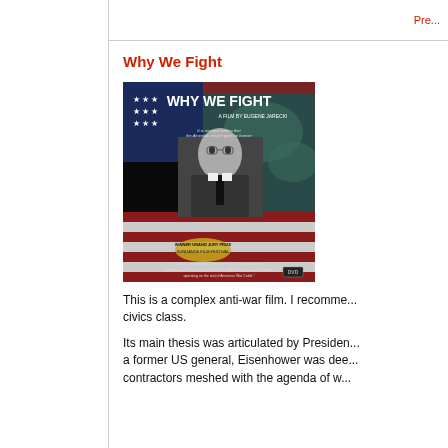Pre...
Why We Fight
[Figure (photo): DVD cover of 'Why We Fight', a film by Eugene Jarecki. Shows an elderly man in a suit against a stylized American flag background. Text reads: 'WHY WE FIGHT - A FILM BY EUGENE JARECKI'. Winner Grand Jury Prize Sundance Film Festival. DVD logo visible.]
This is a complex anti-war film. I recomme... civics class.
Its main thesis was articulated by Presiden... a former US general, Eisenhower was dee... contractors meshed with the agenda of w...